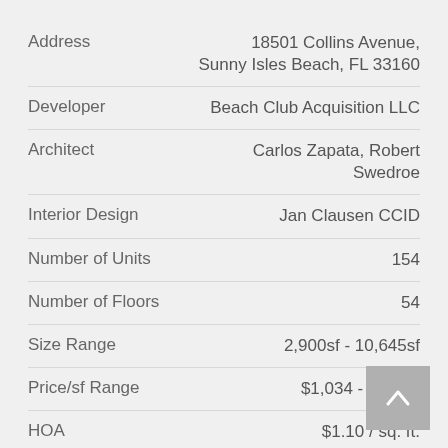| Field | Value |
| --- | --- |
| Address | 18501 Collins Avenue, Sunny Isles Beach, FL 33160 |
| Developer | Beach Club Acquisition LLC |
| Architect | Carlos Zapata, Robert Swedroe |
| Interior Design | Jan Clausen CCID |
| Number of Units | 154 |
| Number of Floors | 54 |
| Size Range | 2,900sf - 10,645sf |
| Price/sf Range | $1,034 - $3,288 |
| HOA | $1.10 / sq. ft. |
| Officail opening Date | End of 2019 |
Deposit Schedule: